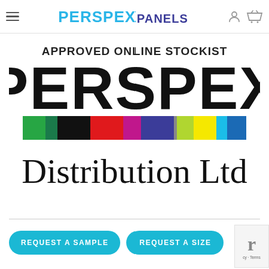PERSPEX PANELS — navigation bar with hamburger menu, logo, user and cart icons
[Figure (logo): Perspex Distribution Ltd approved online stockist logo. Large bold black PERSPEX text, a horizontal color stripe bar (green, teal, black, red, magenta, blue, lime, yellow, cyan, blue), and 'Distribution Ltd' text below. Header reads 'APPROVED ONLINE STOCKIST'.]
REQUEST A SAMPLE
REQUEST A SIZE